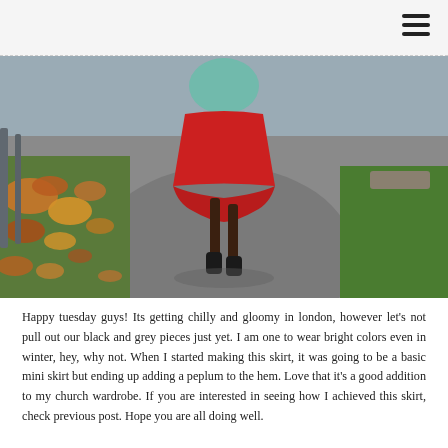[Figure (photo): A person walking away from the camera on a paved path in autumn, wearing a bright red peplum skirt, teal/green top, and black ankle boots. Fallen autumn leaves are scattered on the left side of the path; green grass is visible on the right.]
Happy tuesday guys! Its getting chilly and gloomy in london, however let's not pull out our black and grey pieces just yet. I am one to wear bright colors even in winter, hey, why not. When I started making this skirt, it was going to be a basic mini skirt but ending up adding a peplum to the hem. Love that it's a good addition to my church wardrobe. If you are interested in seeing how I achieved this skirt, check previous post. Hope you are all doing well.